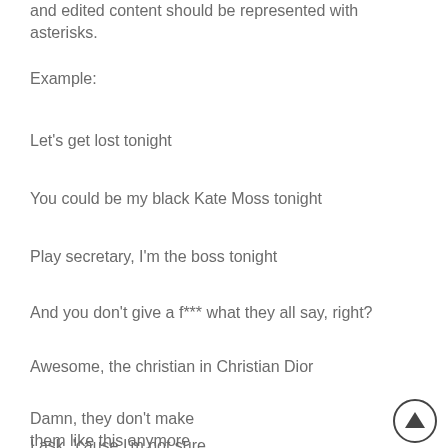and edited content should be represented with asterisks.
Example:
Let's get lost tonight
You could be my black Kate Moss tonight
Play secretary, I'm the boss tonight
And you don't give a f*** what they all say, right?
Awesome, the christian in Christian Dior
Damn, they don't make them like this anymore
I ask, 'cause I'm not sure